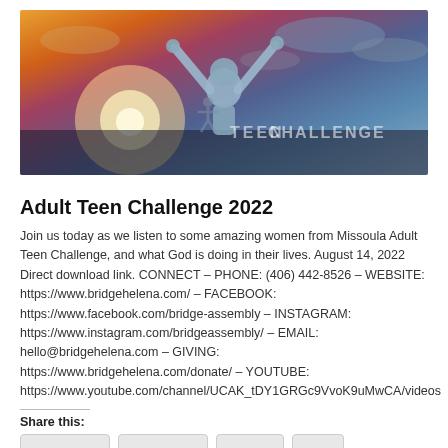[Figure (photo): Person with arms raised triumphantly against a sunset sky, with Teen Challenge logo overlaid]
Adult Teen Challenge 2022
Join us today as we listen to some amazing women from Missoula Adult Teen Challenge, and what God is doing in their lives. August 14, 2022 Direct download link. CONNECT – PHONE: (406) 442-8526 – WEBSITE: https://www.bridgehelena.com/ – FACEBOOK: https://www.facebook.com/bridge-assembly – INSTAGRAM: https://www.instagram.com/bridgeassembly/ – EMAIL: hello@bridgehelena.com – GIVING: https://www.bridgehelena.com/donate/ – YOUTUBE: https://www.youtube.com/channel/UCAK_tDY1GRGc9VvoK9uMwCA/videos
Share this: